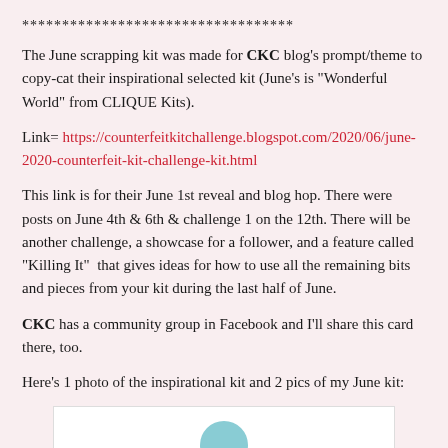**********************************
The June scrapping kit was made for CKC blog's prompt/theme to copy-cat their inspirational selected kit (June's is "Wonderful World" from CLIQUE Kits).
Link= https://counterfeitkitchallenge.blogspot.com/2020/06/june-2020-counterfeit-kit-challenge-kit.html
This link is for their June 1st reveal and blog hop. There were posts on June 4th & 6th & challenge 1 on the 12th. There will be another challenge, a showcase for a follower, and a feature called "Killing It"  that gives ideas for how to use all the remaining bits and pieces from your kit during the last half of June.
CKC has a community group in Facebook and I'll share this card there, too.
Here's 1 photo of the inspirational kit and 2 pics of my June kit:
[Figure (photo): Partial view of a photo showing a teal/blue circular element at the bottom, white background card/image placeholder]